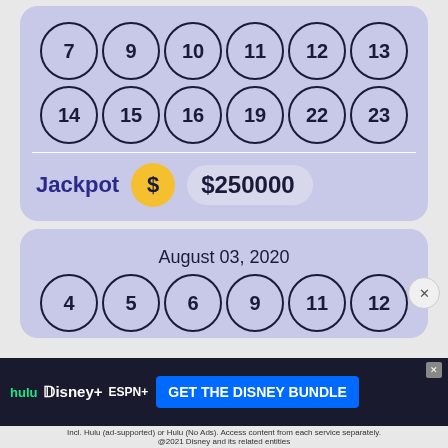[Figure (other): Lottery card top section with two rows of numbered balls: Row 1: 7, 9, 10, 11, 12, 13. Row 2: 14, 15, 16, 19, 22, 23. Jackpot: $250000]
Jackpot  $250000
August 03, 2020
[Figure (other): Lottery card bottom section showing date August 03, 2020 with partial row of balls: 4, 5, 6, 9, 11, 12]
[Figure (infographic): Hulu Disney+ ESPN+ advertisement banner: GET THE DISNEY BUNDLE. Incl. Hulu (ad-supported) or Hulu (No Ads). Access content from each service separately. @2021 Disney and its related entities]